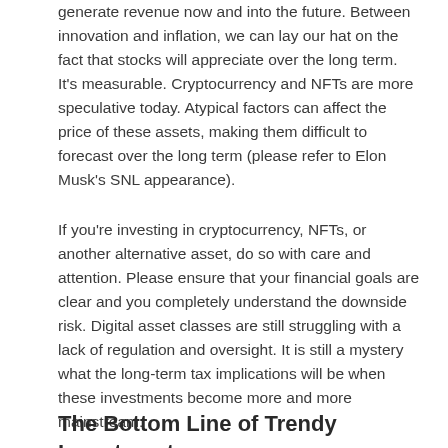generate revenue now and into the future. Between innovation and inflation, we can lay our hat on the fact that stocks will appreciate over the long term. It’s measurable. Cryptocurrency and NFTs are more speculative today. Atypical factors can affect the price of these assets, making them difficult to forecast over the long term (please refer to Elon Musk’s SNL appearance).
If you’re investing in cryptocurrency, NFTs, or another alternative asset, do so with care and attention. Please ensure that your financial goals are clear and you completely understand the downside risk. Digital asset classes are still struggling with a lack of regulation and oversight. It is still a mystery what the long-term tax implications will be when these investments become more and more mainstream.
The Bottom Line of Trendy Investment